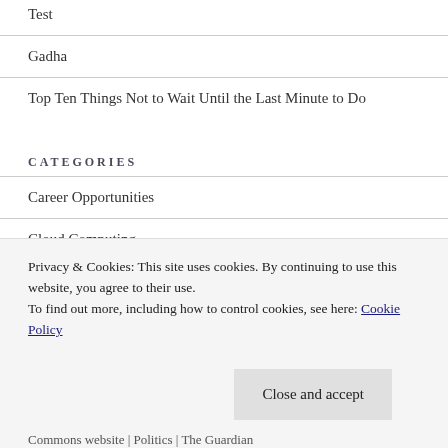Test
Gadha
Top Ten Things Not to Wait Until the Last Minute to Do
CATEGORIES
Career Opportunities
Cloud Computing
FBR
Privacy & Cookies: This site uses cookies. By continuing to use this website, you agree to their use.
To find out more, including how to control cookies, see here: Cookie Policy
Close and accept
Commons website | Politics | The Guardian